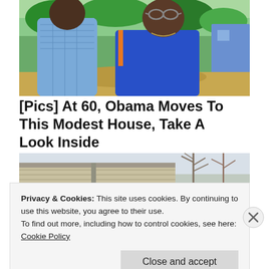[Figure (photo): Two people (a man in a blue checked shirt and a woman in a blue dress with sunglasses) photographed outdoors with green trees and a blue building in the background.]
[Pics] At 60, Obama Moves To This Modest House, Take A Look Inside
BuzzAura
[Figure (photo): Exterior photo of a modest house with beige siding and bare trees in the background.]
Privacy & Cookies: This site uses cookies. By continuing to use this website, you agree to their use.
To find out more, including how to control cookies, see here:
Cookie Policy
Close and accept